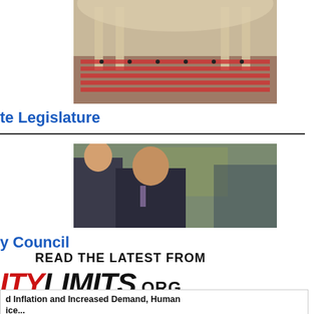[Figure (photo): Legislative chamber interior with ornate columns and rows of seats with red upholstery]
te Legislature
[Figure (photo): Two men in suits seated at what appears to be a hearing or council meeting]
y Council
[Figure (logo): City Limits .org logo with READ THE LATEST FROM header]
d Inflation and Increased Demand, Human ice...
wide, workers at nonprofits under contract to provide ort and essential services to New Yorkers at a time of .